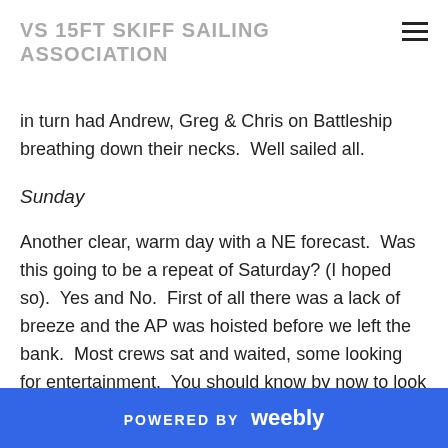VS 15FT SKIFF SAILING ASSOCIATION
in turn had Andrew, Greg & Chris on Battleship breathing down their necks.  Well sailed all.
Sunday
Another clear, warm day with a NE forecast.  Was this going to be a repeat of Saturday? (I hoped so).  Yes and No.  First of all there was a lack of breeze and the AP was hoisted before we left the bank.  Most crews sat and waited, some looking for entertainment.  You should know by now to look no further than Black Diamond, with Ben demonstrating that wet suits can be
POWERED BY weebly